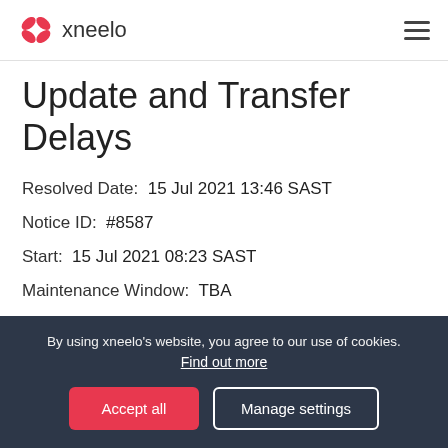xneelo
Update and Transfer Delays
Resolved Date:  15 Jul 2021 13:46 SAST
Notice ID:  #8587
Start:  15 Jul 2021 08:23 SAST
Maintenance Window:  TBA
Issue:  Registry Communication Error
By using xneelo's website, you agree to our use of cookies. Find out more
Accept all
Manage settings